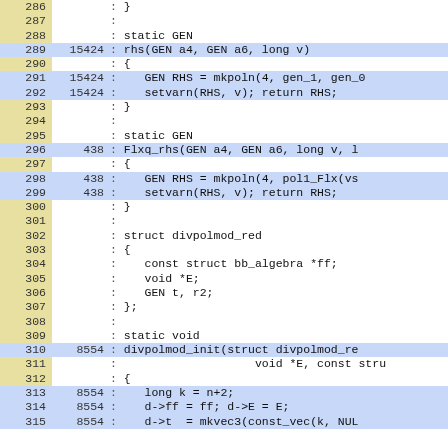[Figure (screenshot): Source code coverage view showing line numbers (286-315), execution counts, and C code including static GEN functions rhs and Flxq_rhs, struct divpolmod_red, and static void divpolmod_init. Highlighted rows (blue background) indicate executed lines with counts like 15424, 438, 8554.]